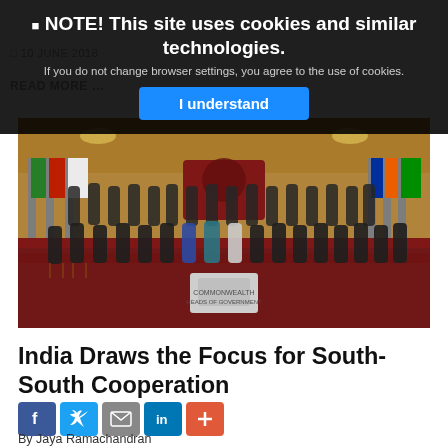NOTE! This site uses cookies and similar technologies. If you do not change browser settings, you agree to the use of cookies. I understand
[Figure (photo): Group photo of Commonwealth Heads of Government at an ornate reception hall, with flags in the background and dignitaries seated in rows.]
India Draws the Focus for South-South Cooperation
By Jaya Ramachandran